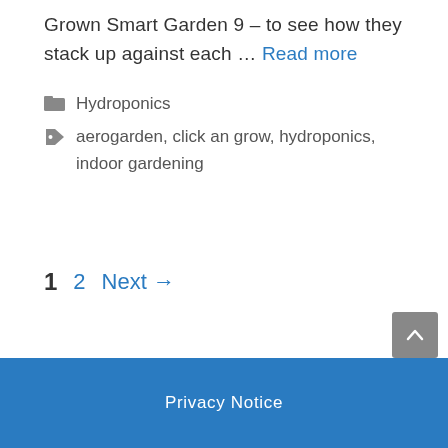Grown Smart Garden 9 – to see how they stack up against each … Read more
Hydroponics
aerogarden, click an grow, hydroponics, indoor gardening
1  2  Next →
Privacy Notice